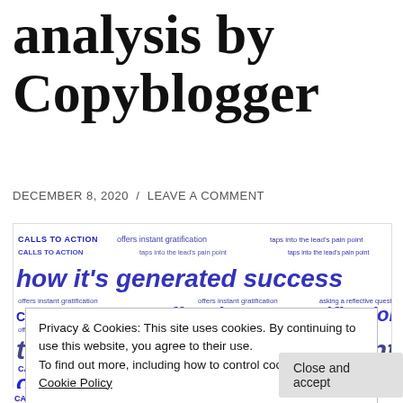analysis by Copyblogger
DECEMBER 8, 2020 / LEAVE A COMMENT
[Figure (infographic): Word cloud featuring repeated phrases: 'CALLS TO ACTION', 'offers instant gratification', 'taps into the lead’s pain point', 'how it’s generated success', 'asking a reflective question', rendered in blue text at varying sizes.]
Privacy & Cookies: This site uses cookies. By continuing to use this website, you agree to their use.
To find out more, including how to control cookies, see here:
Cookie Policy
Close and accept